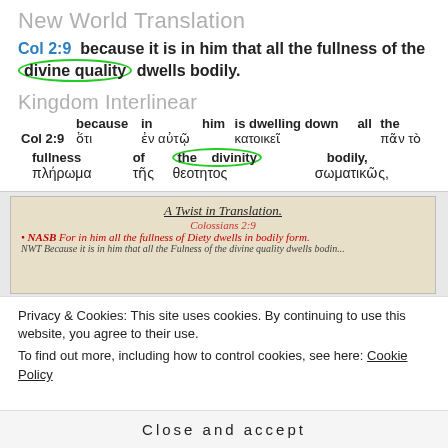New World Translation
Col 2:9  because it is in him that all the fullness of the divine quality dwells bodily.
Kingdom Interlinear
|  | because | in | him | is dwelling down | all | the |
| Col 2:9 | ὅτι | ἐν αὐτῷ |  | κατοικεῖ |  | πᾶν τὸ |
| fullness | of | the divinity |  | bodily, |  |  |
| πλήρωμα | τῆς | θεοτητος | σωματικῶς, |  |  |  |
[Figure (photo): Handwritten note titled 'A Twist in Translation - Colossians 2:9' comparing NASB and NWT translations]
Privacy & Cookies: This site uses cookies. By continuing to use this website, you agree to their use.
To find out more, including how to control cookies, see here: Cookie Policy
Close and accept